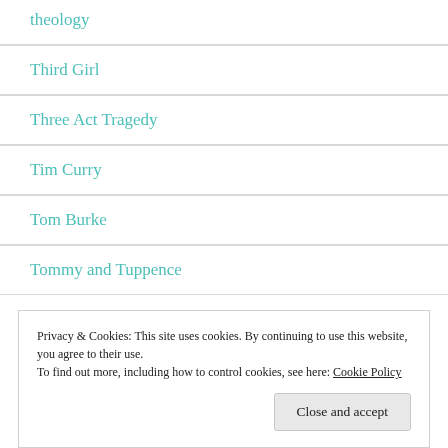theology
Third Girl
Three Act Tragedy
Tim Curry
Tom Burke
Tommy and Tuppence
Privacy & Cookies: This site uses cookies. By continuing to use this website, you agree to their use.
To find out more, including how to control cookies, see here: Cookie Policy
Close and accept